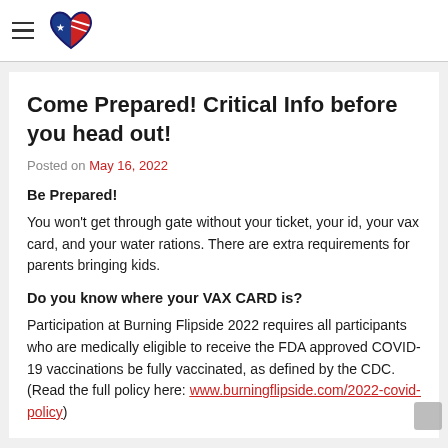[hamburger menu icon] [Burning Flipside logo]
Come Prepared! Critical Info before you head out!
Posted on May 16, 2022
Be Prepared!
You won’t get through gate without your ticket, your id, your vax card, and your water rations. There are extra requirements for parents bringing kids.
Do you know where your VAX CARD is?
Participation at Burning Flipside 2022 requires all participants who are medically eligible to receive the FDA approved COVID-19 vaccinations be fully vaccinated, as defined by the CDC. (Read the full policy here: www.burningflipside.com/2022-covid-policy)